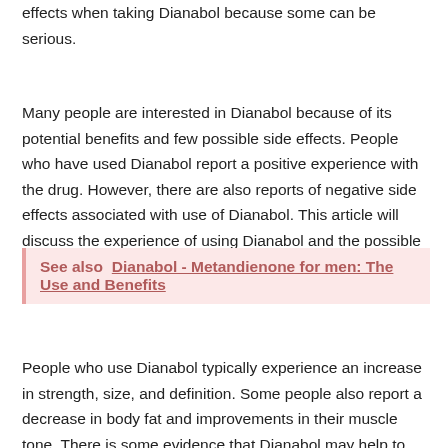effects when taking Dianabol because some can be serious.
Many people are interested in Dianabol because of its potential benefits and few possible side effects. People who have used Dianabol report a positive experience with the drug. However, there are also reports of negative side effects associated with use of Dianabol. This article will discuss the experience of using Dianabol and the possible side effects that can occur.
See also  Dianabol - Metandienone for men: The Use and Benefits
People who use Dianabol typically experience an increase in strength, size, and definition. Some people also report a decrease in body fat and improvements in their muscle tone. There is some evidence that Dianabol may help to